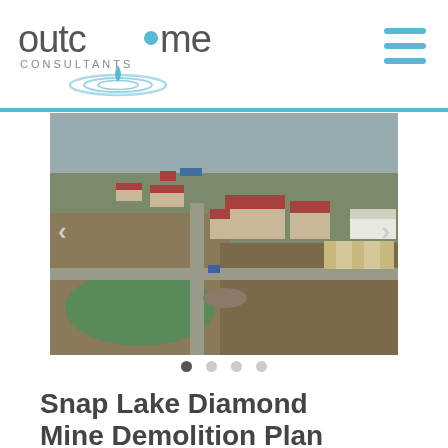[Figure (logo): Outcome Consultants logo with blue water drop and ripple graphic]
[Figure (photo): Aerial photograph of Snap Lake Diamond Mine facility showing industrial buildings with red roofs, roads, and a green water body in the foreground, tundra landscape]
Snap Lake Diamond Mine Demolition Plan